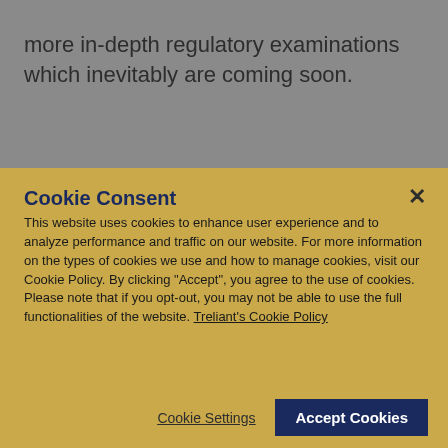programs from directly and to prepare for more in-depth regulatory examinations which inevitably are coming soon.
Cookie Consent
This website uses cookies to enhance user experience and to analyze performance and traffic on our website. For more information on the types of cookies we use and how to manage cookies, visit our Cookie Policy. By clicking "Accept", you agree to the use of cookies. Please note that if you opt-out, you may not be able to use the full functionalities of the website. Treliant's Cookie Policy
Cookie Settings
Accept Cookies